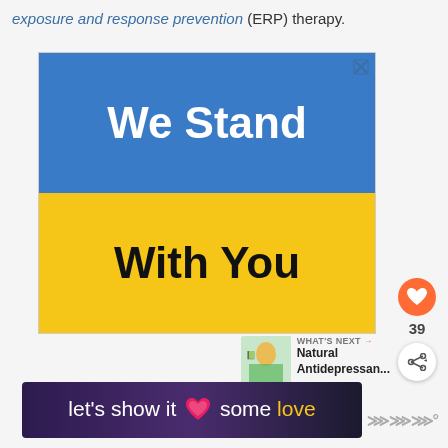exposure and response prevention (ERP) therapy.
[Figure (infographic): Advertisement banner with blue upper half reading 'We Stand' in white bold text, and yellow lower half reading 'With You' in black bold text. Blue X close button in top-right corner.]
[Figure (infographic): Like button (orange heart circle) with count 39 below it, and share button (white circle with share icon) below that.]
[Figure (infographic): What's Next widget with thumbnail image and text 'Natural Antidepressan...']
[Figure (infographic): Bottom banner ad with dark purple background reading 'let's show it some love' with a pink heart and golden 'love' text.]